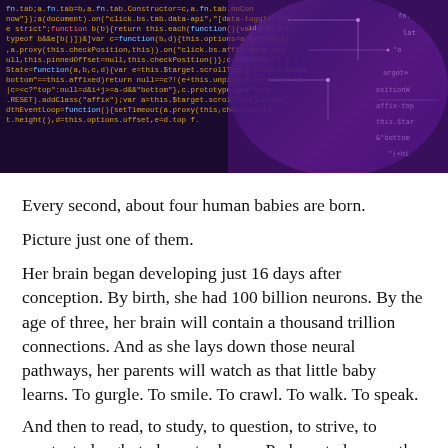[Figure (photo): A digital composite image showing code text overlaid on a dark background on the left, and a glowing purple/violet AI or futuristic human face with circuit board patterns on the right.]
Every second, about four human babies are born.
Picture just one of them.
Her brain began developing just 16 days after conception. By birth, she had 100 billion neurons. By the age of three, her brain will contain a thousand trillion connections. And as she lays down those neural pathways, her parents will watch as that little baby learns. To gurgle. To smile. To crawl. To walk. To speak.
And then to read, to study, to question, to strive, to create, to laugh, to love, to dream. Perhaps to be a mother and raise another human. Perhaps to design a brilliant machine... All of that potential is bound up in that little baby.